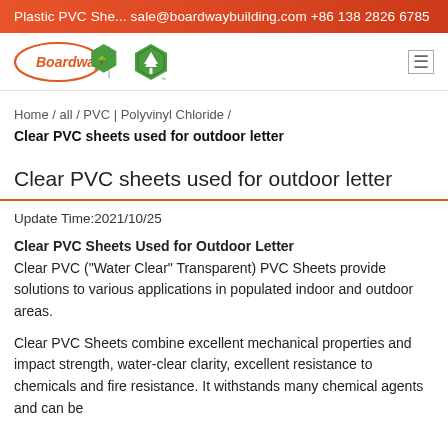Plastic PVC She... sale@boardwaybuilding.com +86 138 2826 6785
[Figure (logo): Boardway company logo with orange oval and tree hexagon icon]
Home / all / PVC | Polyvinyl Chloride /
Clear PVC sheets used for outdoor letter
Clear PVC sheets used for outdoor letter
Update Time:2021/10/25
Clear PVC Sheets Used for Outdoor Letter
Clear PVC ("Water Clear" Transparent) PVC Sheets provide solutions to various applications in populated indoor and outdoor areas.
Clear PVC Sheets combine excellent mechanical properties and impact strength, water-clear clarity, excellent resistance to chemicals and fire resistance. It withstands many chemical agents and can be